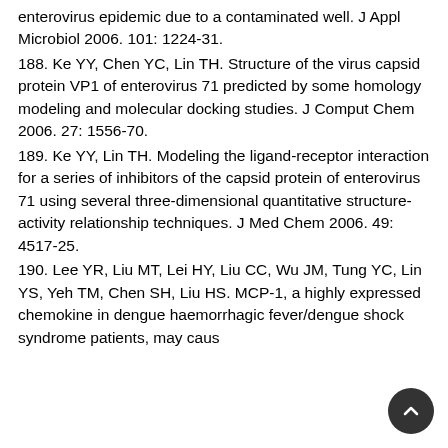enterovirus epidemic due to a contaminated well. J Appl Microbiol 2006. 101: 1224-31.
188. Ke YY, Chen YC, Lin TH. Structure of the virus capsid protein VP1 of enterovirus 71 predicted by some homology modeling and molecular docking studies. J Comput Chem 2006. 27: 1556-70.
189. Ke YY, Lin TH. Modeling the ligand-receptor interaction for a series of inhibitors of the capsid protein of enterovirus 71 using several three-dimensional quantitative structure-activity relationship techniques. J Med Chem 2006. 49: 4517-25.
190. Lee YR, Liu MT, Lei HY, Liu CC, Wu JM, Tung YC, Lin YS, Yeh TM, Chen SH, Liu HS. MCP-1, a highly expressed chemokine in dengue haemorrhagic fever/dengue shock syndrome patients, may caus...